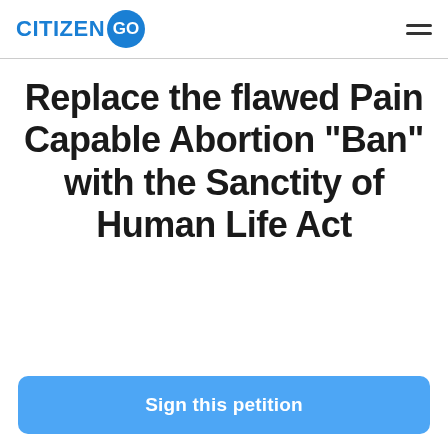CITIZEN GO
Replace the flawed Pain Capable Abortion "Ban" with the Sanctity of Human Life Act
Sign this petition